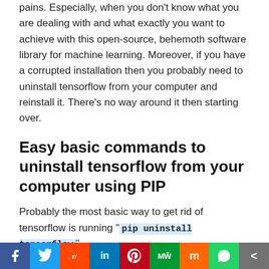pains. Especially, when you don't know what you are dealing with and what exactly you want to achieve with this open-source, behemoth software library for machine learning. Moreover, if you have a corrupted installation then you probably need to uninstall tensorflow from your computer and reinstall it. There's no way around it then starting over.
Easy basic commands to uninstall tensorflow from your computer using PIP
Probably the most basic way to get rid of tensorflow is running "pip uninstall tensorflow"
If you have installed tensorflow using the default method, then you have it installed into your computer's CPU. So in